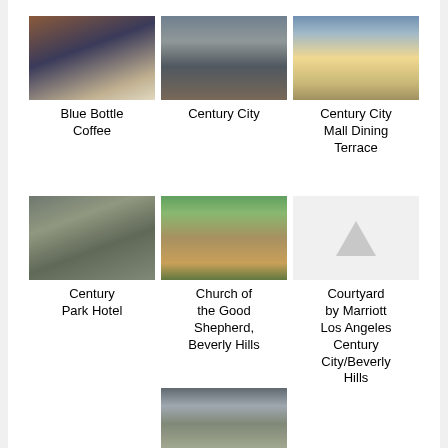[Figure (photo): Photo of Blue Bottle Coffee interior]
Blue Bottle Coffee
[Figure (photo): Aerial photo of Century City]
Century City
[Figure (photo): Photo of Century City Mall Dining Terrace]
Century City Mall Dining Terrace
[Figure (photo): Aerial photo of Century Park Hotel]
Century Park Hotel
[Figure (photo): Photo of Church of the Good Shepherd, Beverly Hills]
Church of the Good Shepherd, Beverly Hills
[Figure (photo): No image available icon for Courtyard by Marriott Los Angeles Century City/Beverly Hills]
Courtyard by Marriott Los Angeles Century City/Beverly Hills
[Figure (photo): Partial photo of a building (bottom row)]